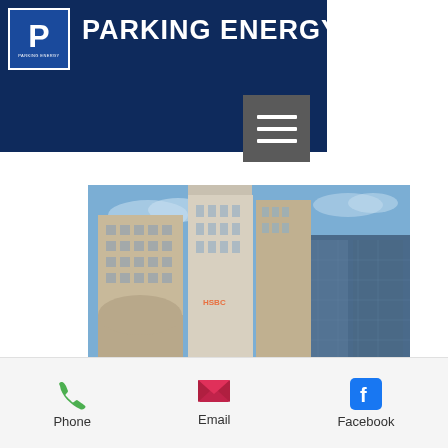PARKING ENERGY
[Figure (photo): Photograph of modern city skyscrapers / financial district buildings against a blue sky, including glass and stone towers resembling Canary Wharf in London]
Phone  Email  Facebook